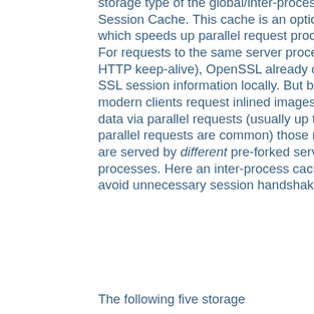storage type of the global/inter-process SSL Session Cache. This cache is an optional facility which speeds up parallel request processing. For requests to the same server process (via HTTP keep-alive), OpenSSL already caches the SSL session information locally. But because modern clients request inlined images and other data via parallel requests (usually up to four parallel requests are common) those requests are served by different pre-forked server processes. Here an inter-process cache helps to avoid unnecessary session handshakes.
The following five storage